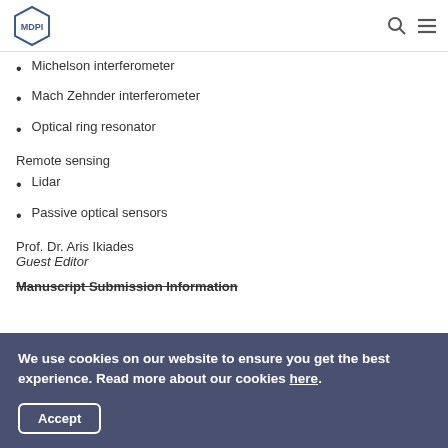MDPI
Michelson interferometer
Mach Zehnder interferometer
Optical ring resonator
Remote sensing
Lidar
Passive optical sensors
Prof. Dr. Aris Ikiades
Guest Editor
Manuscript Submission Information
We use cookies on our website to ensure you get the best experience. Read more about our cookies here.